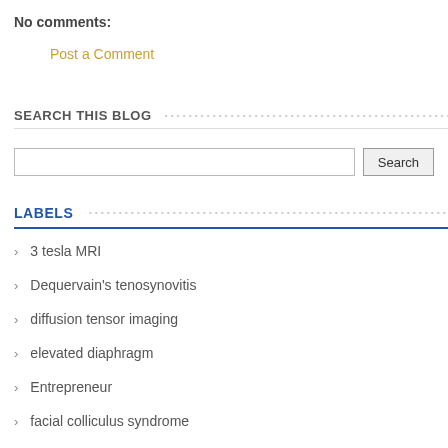No comments:
Post a Comment
SEARCH THIS BLOG
LABELS
3 tesla MRI
Dequervain's tenosynovitis
diffusion tensor imaging
elevated diaphragm
Entrepreneur
facial colliculus syndrome